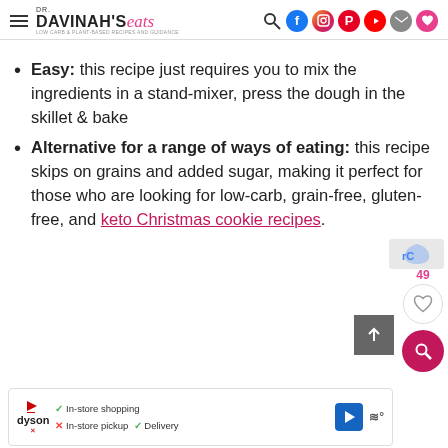DR. DAVINAH'S eats
Easy: this recipe just requires you to mix the ingredients in a stand-mixer, press the dough in the skillet & bake
Alternative for a range of ways of eating: this recipe skips on grains and added sugar, making it perfect for those who are looking for low-carb, grain-free, gluten-free, and keto Christmas cookie recipes.